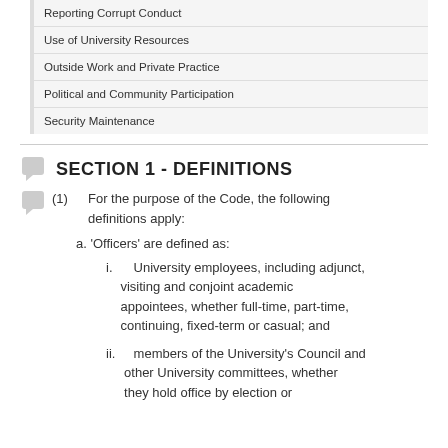Reporting Corrupt Conduct
Use of University Resources
Outside Work and Private Practice
Political and Community Participation
Security Maintenance
SECTION 1 - DEFINITIONS
(1)  For the purpose of the Code, the following definitions apply:
a. 'Officers' are defined as:
i. University employees, including adjunct, visiting and conjoint academic appointees, whether full-time, part-time, continuing, fixed-term or casual; and
ii. members of the University's Council and other University committees, whether they hold office by election or